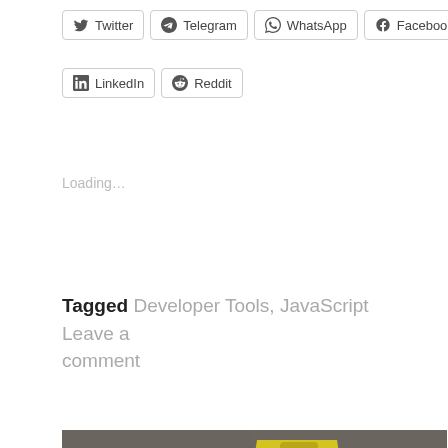Twitter
Telegram
WhatsApp
Facebook
LinkedIn
Reddit
Loading…
Tagged Developer Tools, JavaScript      Leave a comment
[Figure (photo): A yellow 'Caution Cleaning In Progress' wet floor sign lying open on a grey floor, photographed from above.]